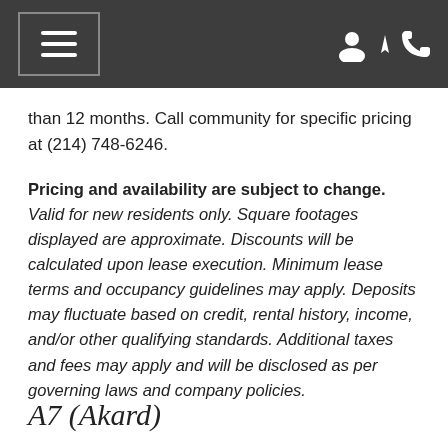Navigation header with hamburger menu and icons
than 12 months. Call community for specific pricing at (214) 748-6246.
Pricing and availability are subject to change. Valid for new residents only. Square footages displayed are approximate. Discounts will be calculated upon lease execution. Minimum lease terms and occupancy guidelines may apply. Deposits may fluctuate based on credit, rental history, income, and/or other qualifying standards. Additional taxes and fees may apply and will be disclosed as per governing laws and company policies.
A7 (Akard)